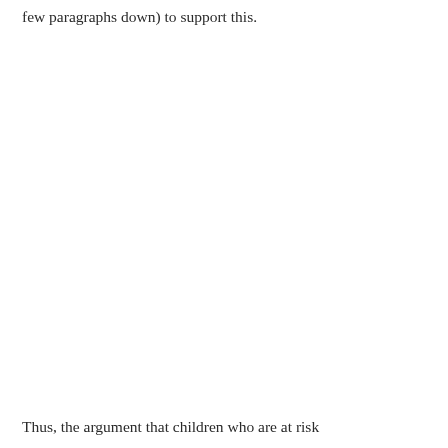few paragraphs down) to support this.
Thus, the argument that children who are at risk